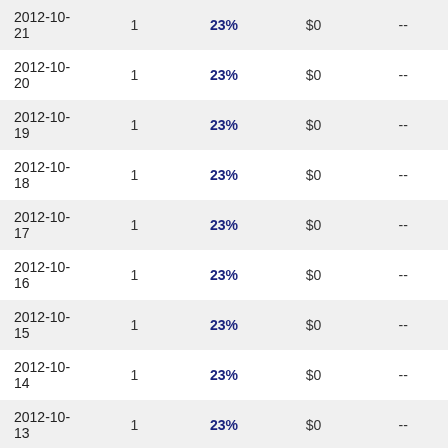| Date | Col2 | Col3 | Amount | Col5 |
| --- | --- | --- | --- | --- |
| 2012-10-21 | 1 | 23% | $0 | -- |
| 2012-10-20 | 1 | 23% | $0 | -- |
| 2012-10-19 | 1 | 23% | $0 | -- |
| 2012-10-18 | 1 | 23% | $0 | -- |
| 2012-10-17 | 1 | 23% | $0 | -- |
| 2012-10-16 | 1 | 23% | $0 | -- |
| 2012-10-15 | 1 | 23% | $0 | -- |
| 2012-10-14 | 1 | 23% | $0 | -- |
| 2012-10-13 | 1 | 23% | $0 | -- |
| 2012-10-12 | 1 | 23% | $0 | -- |
| 2012-10-11 | 1 | 23% | $0 | -- |
| 2012-10-10 | 1 | 23% | $0 | -- |
| 2012-10-09 | 1 | 23% | $0 | -- |
| 2012-10-08 | 1 | 23% | $0 | -- |
| 2012-10-07 | 1 | 23% | $0 | -- |
| 2012-10-06 | 1 | 23% | $0 | -- |